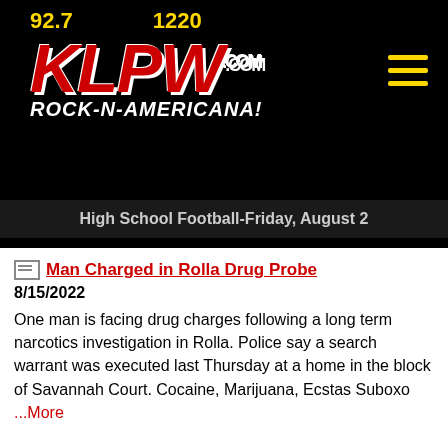[Figure (logo): KLPW radio station logo showing 92.7 and 1220 frequencies in yellow, KLPW in large red italic letters with .COM superscript in white, and ROCK-N-AMERICANA! tagline in white italic text, on black background]
High School Football-Friday, August 2
Man Charged in Rolla Drug Probe
8/15/2022
One man is facing drug charges following a long term narcotics investigation in Rolla. Police say a search warrant was executed last Thursday at a home in the block of Savannah Court. Cocaine, Marijuana, Ecstas Suboxo ...More